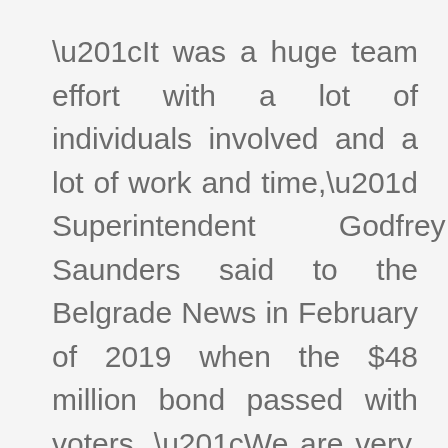“It was a huge team effort with a lot of individuals involved and a lot of work and time,” Superintendent Godfrey Saunders said to the Belgrade News in February of 2019 when the $48 million bond passed with voters. “We are very, very grateful to the public and our voters for their support.” That bond goes toward the new